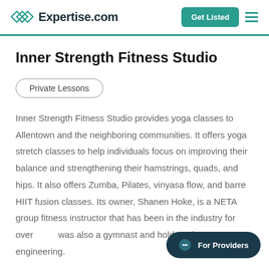Expertise.com
Inner Strength Fitness Studio
Private Lessons
Inner Strength Fitness Studio provides yoga classes to Allentown and the neighboring communities. It offers yoga stretch classes to help individuals focus on improving their balance and strengthening their hamstrings, quads, and hips. It also offers Zumba, Pilates, vinyasa flow, and barre HIIT fusion classes. Its owner, Shanen Hoke, is a NETA group fitness instructor that has been in the industry for over [text cut off] was also a gymnast and holds a deg[text cut off] engineering.